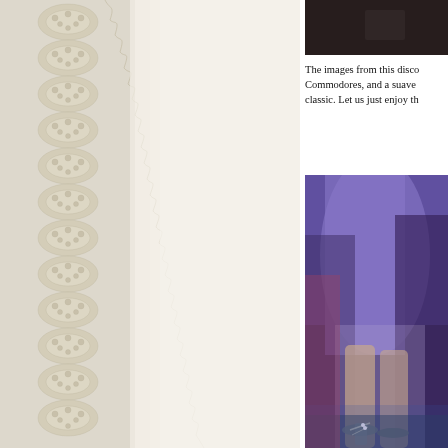[Figure (photo): Close-up photo of cream/ivory lace fabric with scalloped eyelet pattern on the left side, white cloth on the right side]
[Figure (photo): Dark image at top right, partially cropped, appears to be a performance or stage scene]
The images from this disco Commodores, and a suave classic. Let us just enjoy th
[Figure (photo): Photo of someone in a flowing purple/violet dress or skirt, with legs and strappy heeled sandals visible on a stage floor]